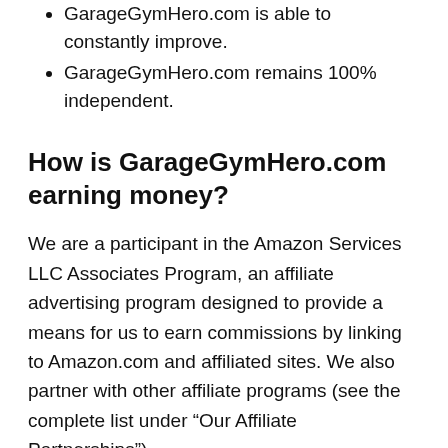GarageGymHero.com is able to constantly improve.
GarageGymHero.com remains 100% independent.
How is GarageGymHero.com earning money?
We are a participant in the Amazon Services LLC Associates Program, an affiliate advertising program designed to provide a means for us to earn commissions by linking to Amazon.com and affiliated sites. We also partner with other affiliate programs (see the complete list under “Our Affiliate Partnerships”).